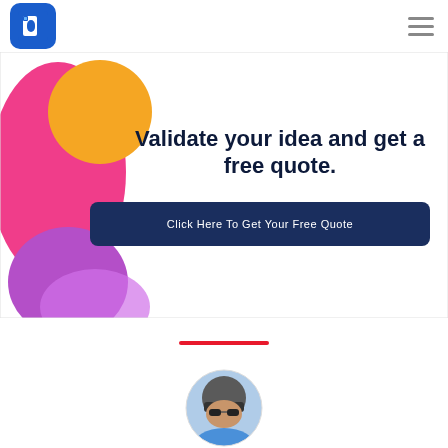[Figure (logo): Blue rounded square logo with white letter D and small square dot, resembling an ID brand logo]
[Figure (illustration): Hamburger menu icon (three horizontal lines) in gray on the right side of the header]
[Figure (illustration): Colorful banner background with pink gradient shape and orange/yellow circle on the left, purple blob at bottom left]
Validate your idea and get a free quote.
Click Here To Get Your Free Quote
[Figure (illustration): Red horizontal divider line]
[Figure (photo): Circular cropped photo of a person wearing a helmet and sunglasses, outdoors]